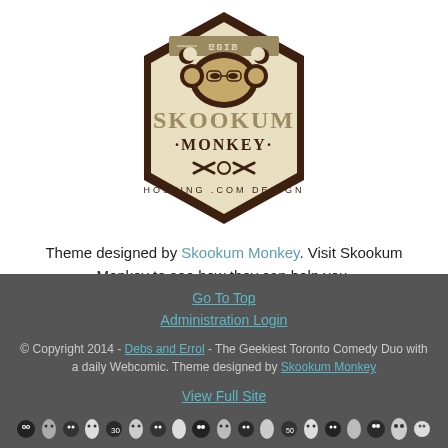[Figure (logo): Skookum Monkey logo — hexagonal badge with monkey face, 'ESTD 2012', 'SKOOKUM MONKEY', 'HOSTING .COM DESIGN' text, brown and beige colors]
Theme designed by Skookum Monkey. Visit Skookum Monkey to see how they can help you.
8y 4m 1w 2d 07:01:08 Not Deleted On Wikipedia
Go To Top
Administration Login
© Copyright 2014 - Debs and Errol - The Geekiest Toronto Comedy Duo with a daily Webcomic. Theme designed by Skookum Monkey
View Full Site